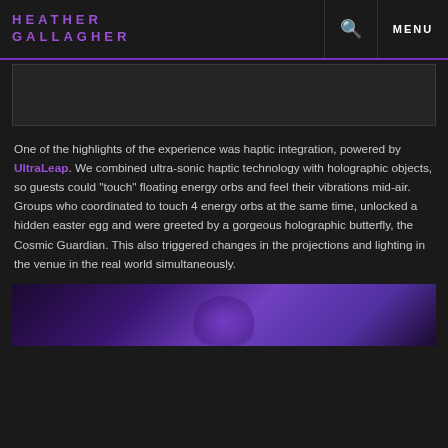HEATHER GALLAGHER
[Figure (photo): Dark image placeholder area at top of page]
One of the highlights of the experience was haptic integration, powered by UltraLeap. We combined ultra-sonic haptic technology with holographic objects, so guests could "touch" floating energy orbs and feel their vibrations mid-air. Groups who coordinated to touch 4 energy orbs at the same time, unlocked a hidden easter egg and were greeted by a gorgeous holographic butterfly, the Cosmic Guardian. This also triggered changes in the projections and lighting in the venue in the real world simultaneously.
[Figure (photo): Purple-lit venue photo partially visible at bottom of page]